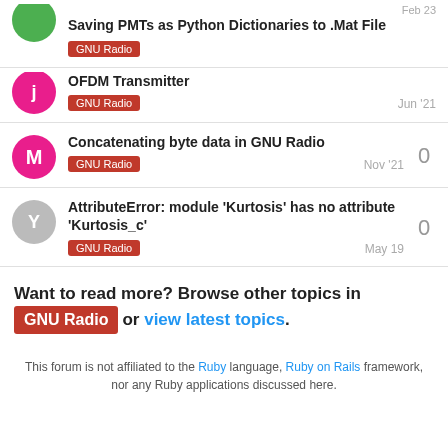Saving PMTs as Python Dictionaries to .Mat File | GNU Radio | Feb 23
OFDM Transmitter | GNU Radio | Jun '21
Concatenating byte data in GNU Radio | GNU Radio | Nov '21 | 0 replies
AttributeError: module 'Kurtosis' has no attribute 'Kurtosis_c' | GNU Radio | May 19 | 0 replies
Want to read more? Browse other topics in GNU Radio or view latest topics.
This forum is not affiliated to the Ruby language, Ruby on Rails framework, nor any Ruby applications discussed here.